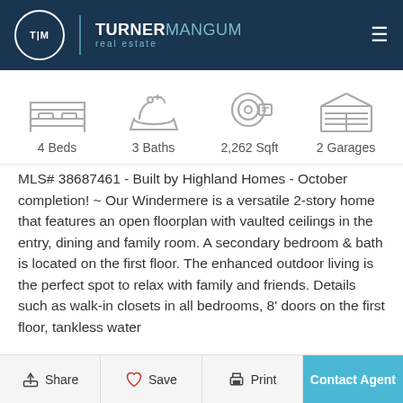[Figure (logo): Turner Mangum Real Estate logo in dark navy header with hamburger menu icon]
[Figure (infographic): Property features icons: 4 Beds, 3 Baths, 2262 Sqft, 2 Garages]
MLS# 38687461 - Built by Highland Homes - October completion! ~ Our Windermere is a versatile 2-story home that features an open floorplan with vaulted ceilings in the entry, dining and family room. A secondary bedroom & bath is located on the first floor. The enhanced outdoor living is the perfect spot to relax with family and friends. Details such as walk-in closets in all bedrooms, 8' doors on the first floor, tankless water
Share   Save   Print   Contact Agent